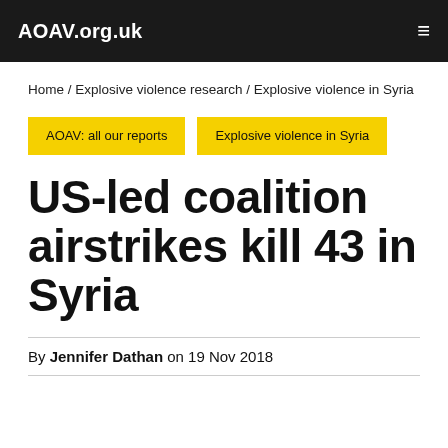AOAV.org.uk
Home / Explosive violence research / Explosive violence in Syria
AOAV: all our reports
Explosive violence in Syria
US-led coalition airstrikes kill 43 in Syria
By Jennifer Dathan on 19 Nov 2018